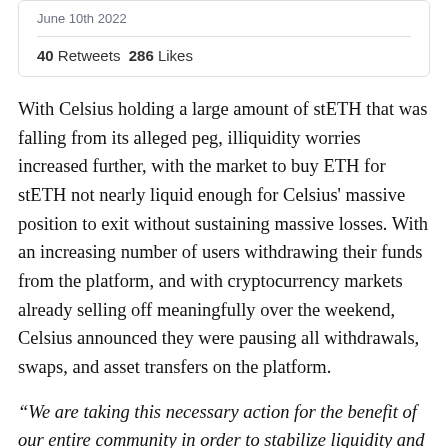June 10th 2022
40 Retweets  286 Likes
With Celsius holding a large amount of stETH that was falling from its alleged peg, illiquidity worries increased further, with the market to buy ETH for stETH not nearly liquid enough for Celsius' massive position to exit without sustaining massive losses. With an increasing number of users withdrawing their funds from the platform, and with cryptocurrency markets already selling off meaningfully over the weekend, Celsius announced they were pausing all withdrawals, swaps, and asset transfers on the platform.
“We are taking this necessary action for the benefit of our entire community in order to stabilize liquidity and operations while we take steps to preserve and protect